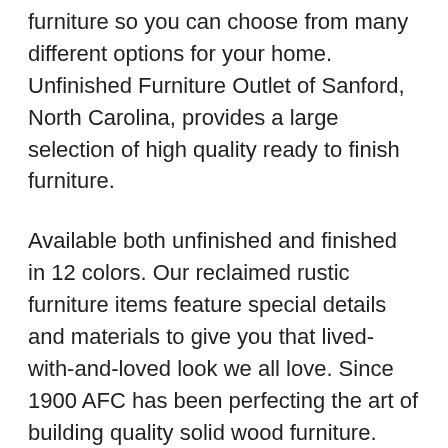furniture so you can choose from many different options for your home. Unfinished Furniture Outlet of Sanford, North Carolina, provides a large selection of high quality ready to finish furniture.
Available both unfinished and finished in 12 colors. Our reclaimed rustic furniture items feature special details and materials to give you that lived-with-and-loved look we all love. Since 1900 AFC has been perfecting the art of building quality solid wood furniture.
175 Blanding Blvd Orange Park, FL 32073. We will tailor our product around your budget, as basic or elaborate as desired. Unique Custom Made Furniture.